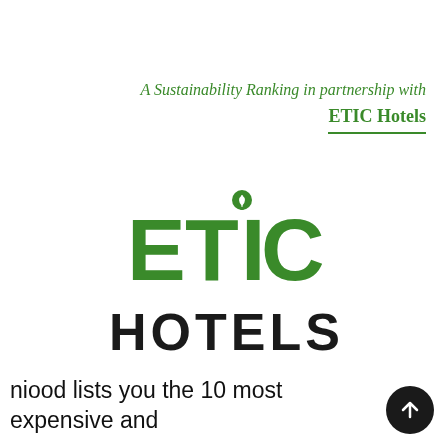A Sustainability Ranking in partnership with ETIC Hotels
[Figure (logo): ETIC Hotels logo — large green bold letters spelling ETIC on top and HOTELS below, with a small green leaf/circle icon above the letter I in ETIC]
niood lists you the 10 most expensive and